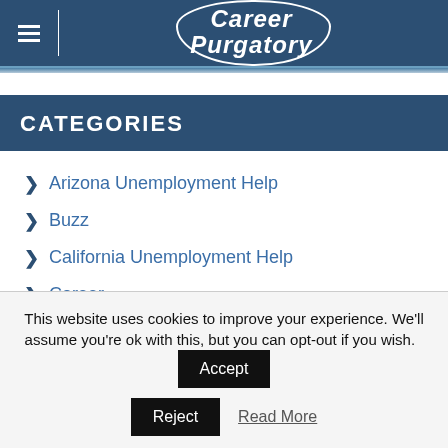Career Purgatory
CATEGORIES
Arizona Unemployment Help
Buzz
California Unemployment Help
Career
This website uses cookies to improve your experience. We'll assume you're ok with this, but you can opt-out if you wish. Accept Reject Read More